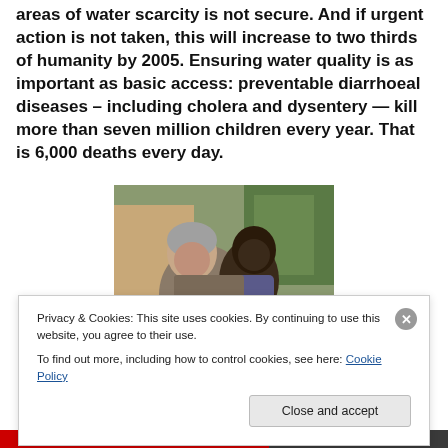areas of water scarcity is not secure. And if urgent action is not taken, this will increase to two thirds of humanity by 2005. Ensuring water quality is as important as basic access: preventable diarrhoeal diseases – including cholera and dysentery — kill more than seven million children every year. That is 6,000 deaths every day.
[Figure (photo): An older man holding and looking at a young African child outdoors, with a building and trees in the background.]
Privacy & Cookies: This site uses cookies. By continuing to use this website, you agree to their use.
To find out more, including how to control cookies, see here: Cookie Policy